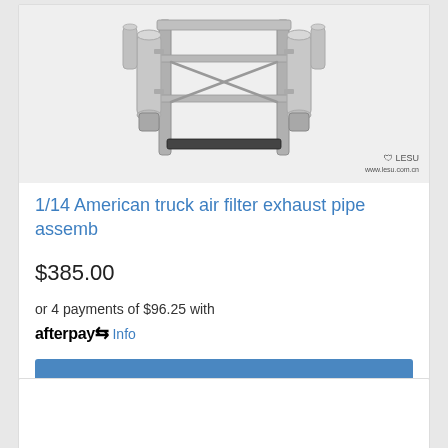[Figure (photo): Metal truck air filter exhaust pipe assembly model (1/14 scale), silver/chrome colored metal framework with cylindrical components, on white background. LESU brand logo in bottom right corner.]
1/14 American truck air filter exhaust pipe assemb
$385.00
or 4 payments of $96.25 with afterpay Info
Add to Cart